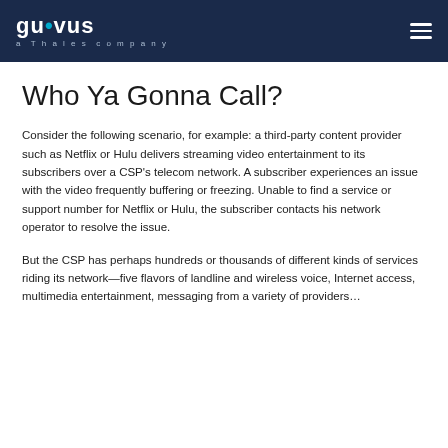guavus · a Thales company
Who Ya Gonna Call?
Consider the following scenario, for example: a third-party content provider such as Netflix or Hulu delivers streaming video entertainment to its subscribers over a CSP's telecom network. A subscriber experiences an issue with the video frequently buffering or freezing. Unable to find a service or support number for Netflix or Hulu, the subscriber contacts his network operator to resolve the issue.
But the CSP has perhaps hundreds or thousands of different kinds of services riding its network—five flavors of landline and wireless voice, Internet access, multimedia entertainment, messaging from a variety of providers…